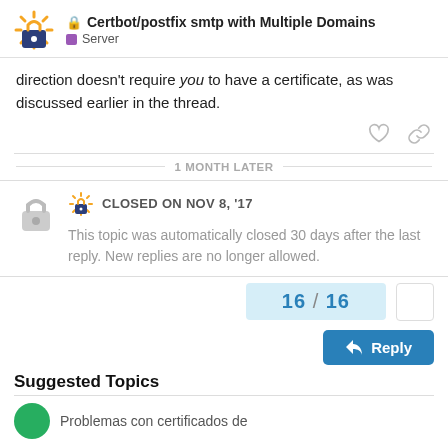Certbot/postfix smtp with Multiple Domains — Server
direction doesn't require you to have a certificate, as was discussed earlier in the thread.
1 MONTH LATER
CLOSED ON NOV 8, '17
This topic was automatically closed 30 days after the last reply. New replies are no longer allowed.
16 / 16
Reply
Suggested Topics
Problemas con certificados de